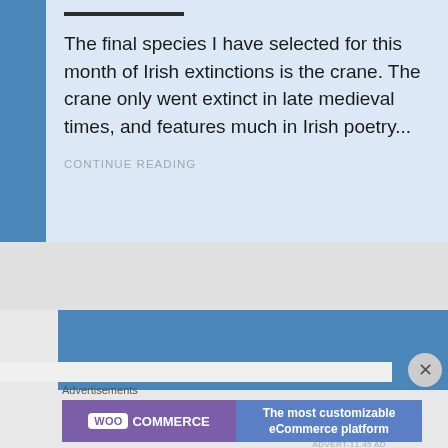The final species I have selected for this month of Irish extinctions is the crane. The crane only went extinct in late medieval times, and features much in Irish poetry...
CONTINUE READING
[Figure (screenshot): WooCommerce advertisement banner: purple left section with WooCommerce logo, blue right section with text 'The most customizable eCommerce platform']
Advertisements